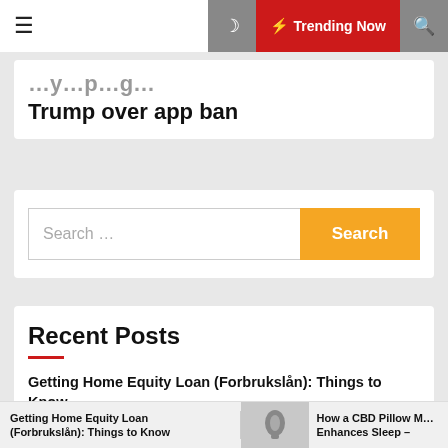☰ 🌙 ⚡ Trending Now 🔍
...y... Trump over app ban
[Figure (other): Search bar with text input 'Search ...' and orange 'Search' button]
Recent Posts
Getting Home Equity Loan (Forbrukslån): Things to Know
How a CBD Pillow Mist Spray Enhances Sleep – Bid Adieu to Insomnia
Getting Home Equity Loan (Forbrukslån): Things to Know | How a CBD Pillow Mist Enhances Sleep –